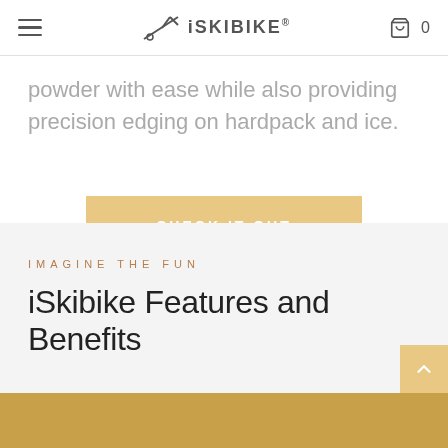iSKIBIKE — navigation bar with hamburger menu and cart icon (0 items)
powder with ease while also providing precision edging on hardpack and ice.
CHECK IT OUT
IMAGINE THE FUN
iSkibike Features and Benefits